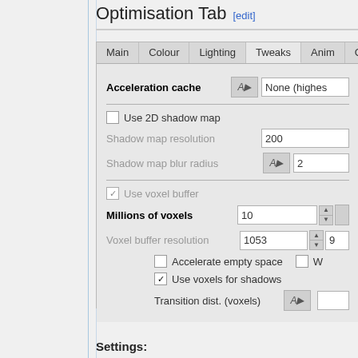Optimisation Tab [edit]
[Figure (screenshot): A dialog box showing the Optimisation Tab settings panel with tabs: Main, Colour, Lighting, Tweaks, Anim, (C). Contains settings for Acceleration cache, Use 2D shadow map, Shadow map resolution (200), Shadow map blur radius (2), Use voxel buffer (checked/greyed), Millions of voxels (10), Voxel buffer resolution (1053, 9), Accelerate empty space (unchecked), Use voxels for shadows (checked), Transition dist. (voxels) with an icon button.]
Settings: